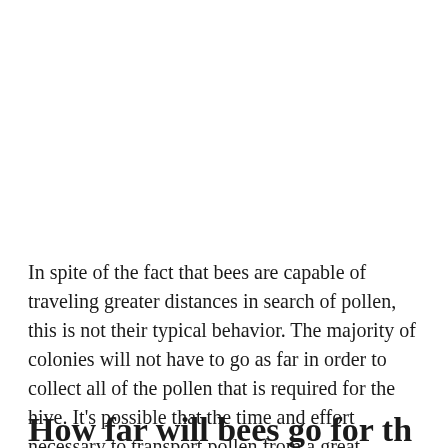In spite of the fact that bees are capable of traveling greater distances in search of pollen, this is not their typical behavior. The majority of colonies will not have to go as far in order to collect all of the pollen that is required for the hive. It's possible that the time and effort necessary to transport pollen from a great distance won't be worth it in the end.
How far will bees go for the...